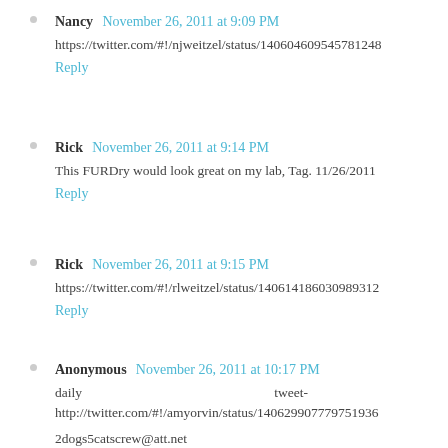Nancy  November 26, 2011 at 9:09 PM
https://twitter.com/#!/njweitzel/status/140604609545781248
Reply
Rick  November 26, 2011 at 9:14 PM
This FURDry would look great on my lab, Tag. 11/26/2011
Reply
Rick  November 26, 2011 at 9:15 PM
https://twitter.com/#!/rlweitzel/status/140614186030989312
Reply
Anonymous  November 26, 2011 at 10:17 PM
daily tweet-
http://twitter.com/#!/amyorvin/status/140629907779751936

2dogs5catscrew@att.net